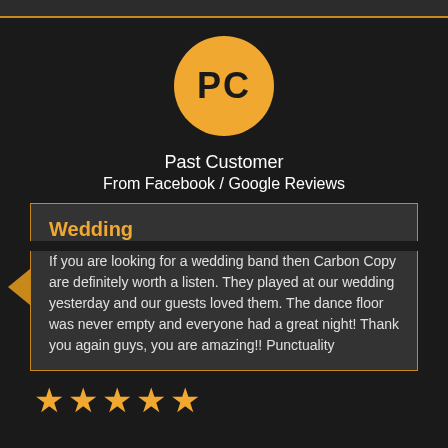[Figure (illustration): Orange circle avatar with initials PC on dark background]
Past Customer
From Facebook / Google Reviews
Wedding
If you are looking for a wedding band then Carbon Copy are definitely worth a listen. They played at our wedding yesterday and our guests loved them. The dance floor was never empty and everyone had a great night! Thank you again guys, you are amazing!! Punctuality
[Figure (illustration): Five golden star rating icons]